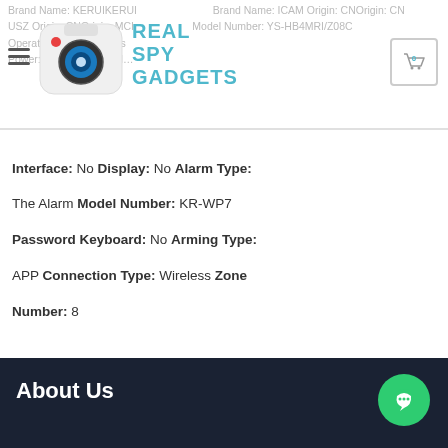Brand Name: KERUIKERUI Brand Name: ICAM Origin: CNOrigin: CN USZ Origin: CNOrigin: MCI Model Number: YS-HB4MRI/Z08C Function: Operation: Door/Wireless Model Number: YS-HB4MRI/Z08C Power: USB5V Output Number: Model Number: YS-HB4MRI/Z08C
[Figure (logo): Real Spy Gadgets logo - camera icon with text REAL SPY GADGETS in teal/cyan color]
Interface: No Display: No Alarm Type: The Alarm Model Number: KR-WP7 Password Keyboard: No Arming Type: APP Connection Type: Wireless Zone Number: 8
About Us